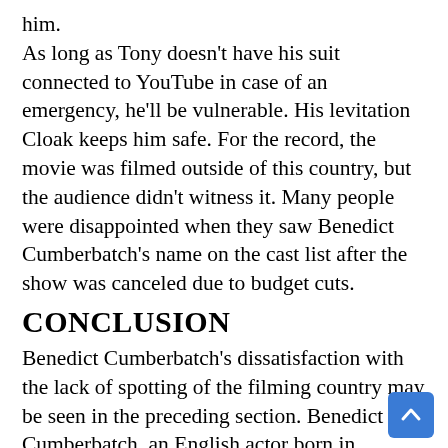him. As long as Tony doesn't have his suit connected to YouTube in case of an emergency, he'll be vulnerable. His levitation Cloak keeps him safe. For the record, the movie was filmed outside of this country, but the audience didn't witness it. Many people were disappointed when they saw Benedict Cumberbatch's name on the cast list after the show was canceled due to budget cuts.
CONCLUSION
Benedict Cumberbatch's dissatisfaction with the lack of spotting of the filming country may be seen in the preceding section. Benedict Cumberbatch, an English actor born in London, has a net worth of $10 million and is a graduate of the Actors Studio.